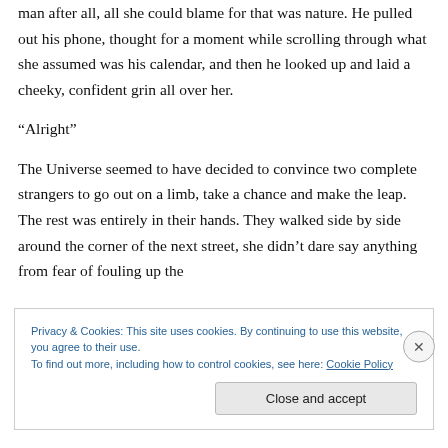man after all, all she could blame for that was nature. He pulled out his phone, thought for a moment while scrolling through what she assumed was his calendar, and then he looked up and laid a cheeky, confident grin all over her.
“Alright”
The Universe seemed to have decided to convince two complete strangers to go out on a limb, take a chance and make the leap. The rest was entirely in their hands. They walked side by side around the corner of the next street, she didn’t dare say anything from fear of fouling up the
Privacy & Cookies: This site uses cookies. By continuing to use this website, you agree to their use.
To find out more, including how to control cookies, see here: Cookie Policy